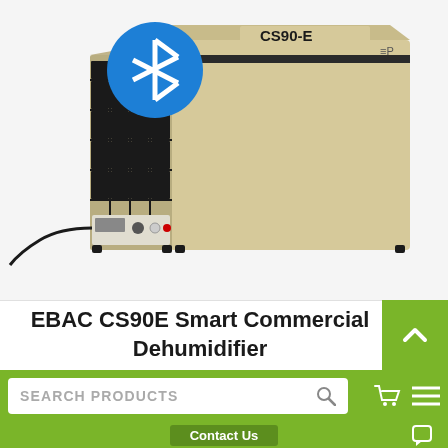[Figure (photo): EBAC CS90-E commercial dehumidifier unit, beige/cream colored box with black filter grid visible on the front-left side, control panel at bottom, CS90-E label on top, Bluetooth icon overlay in top-left corner]
EBAC CS90E Smart Commercial Dehumidifier
SEARCH PRODUCTS
Contact Us